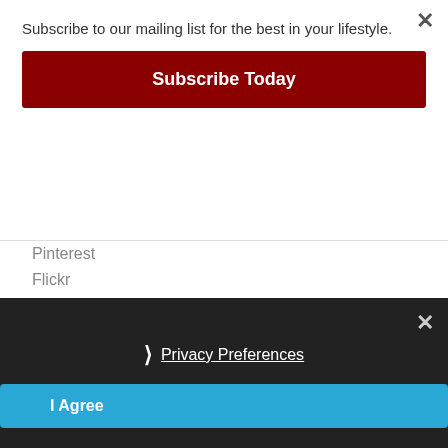Subscribe to our mailing list for the best in your lifestyle.
Subscribe Today
Pinterest
Flickr
Tumblr
[Figure (infographic): Social media sharing icons row: Facebook (blue), Twitter (light blue), Pinterest (red), Tumblr (dark blue-grey), Reddit (orange), LinkedIn (teal), More/Plus (blue)]
Privacy Preferences
I Agree